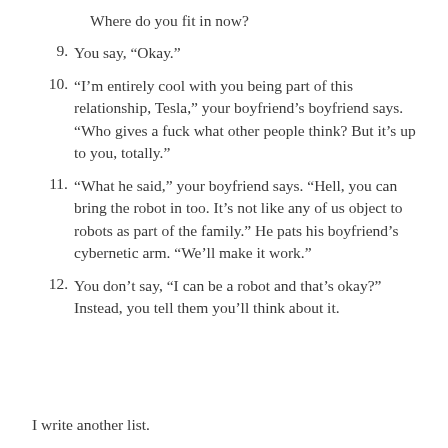Where do you fit in now?
9. You say, “Okay.”
10. “I’m entirely cool with you being part of this relationship, Tesla,” your boyfriend’s boyfriend says. “Who gives a fuck what other people think? But it’s up to you, totally.”
11. “What he said,” your boyfriend says. “Hell, you can bring the robot in too. It’s not like any of us object to robots as part of the family.” He pats his boyfriend’s cybernetic arm. “We’ll make it work.”
12. You don’t say, “I can be a robot and that’s okay?” Instead, you tell them you’ll think about it.
I write another list.